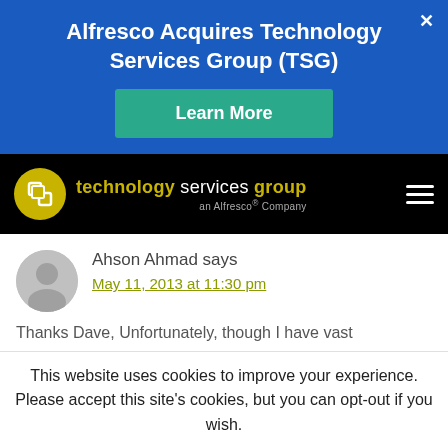Alfresco Acquires Technology Services Group (TSG)
Learn More
[Figure (logo): Technology Services Group logo with golden circle icon and text 'technology services group an Alfresco Company' on black navigation bar with hamburger menu]
Ahson Ahmad says
May 11, 2013 at 11:30 pm
Thanks Dave, Unfortunately, though I have vast
This website uses cookies to improve your experience. Please accept this site's cookies, but you can opt-out if you wish.
Privacy Policy | ACCEPT | Cookie settings